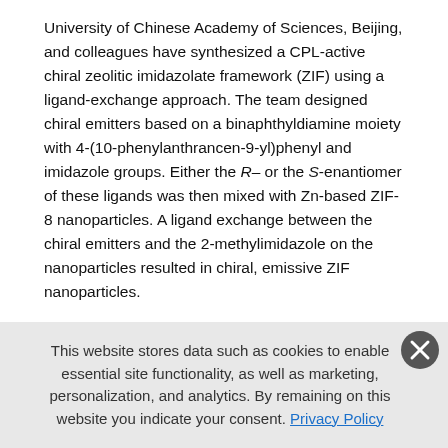University of Chinese Academy of Sciences, Beijing, and colleagues have synthesized a CPL-active chiral zeolitic imidazolate framework (ZIF) using a ligand-exchange approach. The team designed chiral emitters based on a binaphthyldiamine moiety with 4-(10-phenylanthrancen-9-yl)phenyl and imidazole groups. Either the R– or the S-enantiomer of these ligands was then mixed with Zn-based ZIF-8 nanoparticles. A ligand exchange between the chiral emitters and the 2-methylimidazole on the nanoparticles resulted in chiral, emissive ZIF nanoparticles.
Compared with the same chiral emitters in dilute solution, the chiral ZIF shows an increase of g_lum by one order of magnitude, as well as an enhancement of luminescence efficiency. The material avoids a major trade-off usually observed with CPL-active materials, where large luminescence dissymmetry factors lead to a suppression of
This website stores data such as cookies to enable essential site functionality, as well as marketing, personalization, and analytics. By remaining on this website you indicate your consent. Privacy Policy